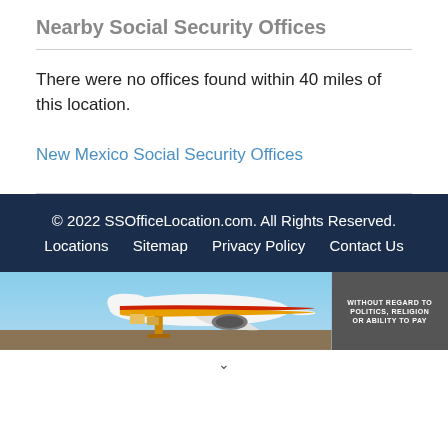Nearby Social Security Offices
There were no offices found within 40 miles of this location.
New Mexico Social Security Offices
© 2022 SSOfficeLocation.com. All Rights Reserved.
Locations  Sitemap  Privacy Policy  Contact Us
[Figure (photo): Advertisement banner showing an airplane being loaded with cargo, with text overlay reading 'WITHOUT REGARD TO POLITICS, RELIGION OR ABILITY TO PAY']